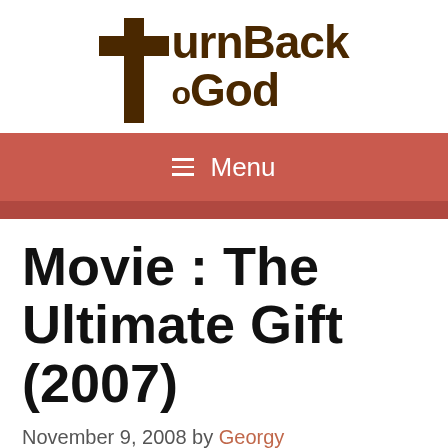[Figure (logo): TurnBack To God logo with a cross symbol and stylized brown text]
≡ Menu
Movie : The Ultimate Gift (2007)
November 9, 2008 by Georgy